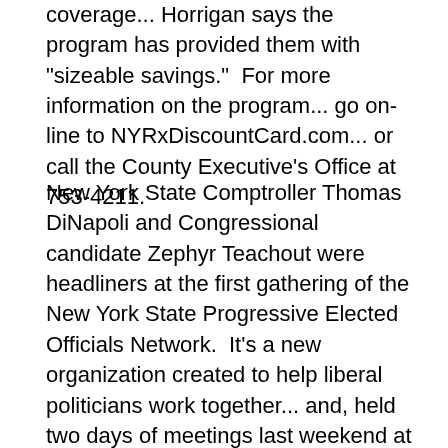coverage... Horrigan says the program has provided them with "sizeable savings."  For more information on the program... go on-line to NYRxDiscountCard.com... or call the County Executive's Office at 753-4211.
New York State Comptroller Thomas DiNapoli and Congressional candidate Zephyr Teachout were headliners at the first gathering of the New York State Progressive Elected Officials Network.  It's a new organization created to help liberal politicians work together... and, held two days of meetings last weekend at an Albany-area hotel.  The coalition says the event gave elected officials from around the state the chance to discuss politics related to ``economic justice," education, climate change, housing and other issues.  Nearly 100 officials attended.  DiNapoli, a Democrat, was re-elected in 2014.  Teachout, a Fordham University law professor, unsuccessfully challenged Governor Andrew Cuomo in the 2014 Democratic primary for governor.  She is now